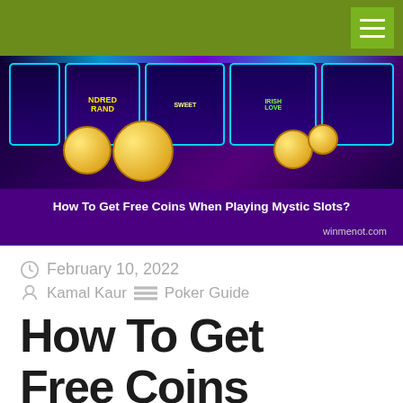[Figure (photo): Casino slot machine game screenshot showing colorful slot screens with coins flying, purple/dark background. Slot games visible include 'Ndred Rand', 'Sweet', and 'Irish Love'.]
How To Get Free Coins When Playing Mystic Slots?
winmenot.com
February 10, 2022
Kamal Kaur   Poker Guide
How To Get Free Coins When Playing